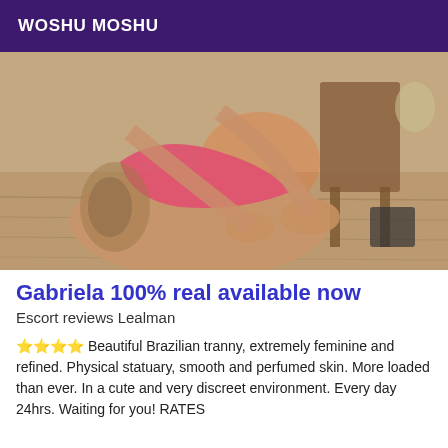WOSHU MOSHU
[Figure (photo): Photo of a woman in a pink bikini bottom with a tattoo on her thigh, leaning on a wooden table with a chair and lamp visible in the background.]
Gabriela 100% real available now
Escort reviews Lealman
🌟🌟🌟🌟 Beautiful Brazilian tranny, extremely feminine and refined. Physical statuary, smooth and perfumed skin. More loaded than ever. In a cute and very discreet environment. Every day 24hrs. Waiting for you! RATES